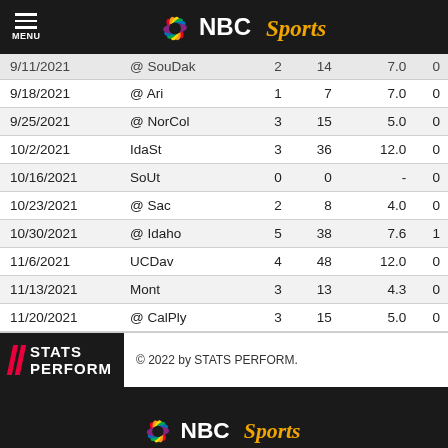NBC Sports
| Date | Opponent | REC | YDS | AVG | TD |
| --- | --- | --- | --- | --- | --- |
| 9/11/2021 | @ SouDak | 2 | 14 | 7.0 | 0 |
| 9/18/2021 | @ Ari | 1 | 7 | 7.0 | 0 |
| 9/25/2021 | @ NorCol | 3 | 15 | 5.0 | 0 |
| 10/2/2021 | IdaSt | 3 | 36 | 12.0 | 0 |
| 10/16/2021 | SoUt | 0 | 0 | - | 0 |
| 10/23/2021 | @ Sac | 2 | 8 | 4.0 | 0 |
| 10/30/2021 | @ Idaho | 5 | 38 | 7.6 | 1 |
| 11/6/2021 | UCDav | 4 | 48 | 12.0 | 0 |
| 11/13/2021 | Mont | 3 | 13 | 4.3 | 0 |
| 11/20/2021 | @ CalPly | 3 | 15 | 5.0 | 0 |
© 2022 by STATS PERFORM.
NBC Sports